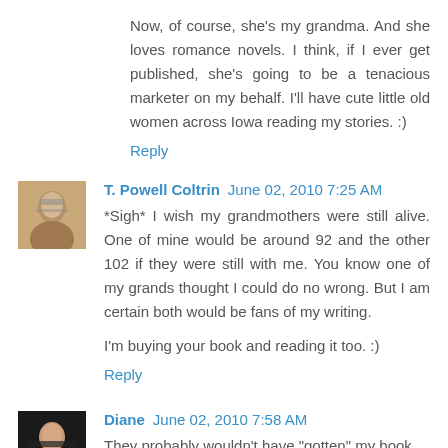Now, of course, she's my grandma. And she loves romance novels. I think, if I ever get published, she's going to be a tenacious marketer on my behalf. I'll have cute little old women across Iowa reading my stories. :)
Reply
T. Powell Coltrin  June 02, 2010 7:25 AM
*Sigh* I wish my grandmothers were still alive. One of mine would be around 92 and the other 102 if they were still with me. You know one of my grands thought I could do no wrong. But I am certain both would be fans of my writing.
I'm buying your book and reading it too. :)
Reply
Diane  June 02, 2010 7:58 AM
They probably wouldn't have "gotten" my book.